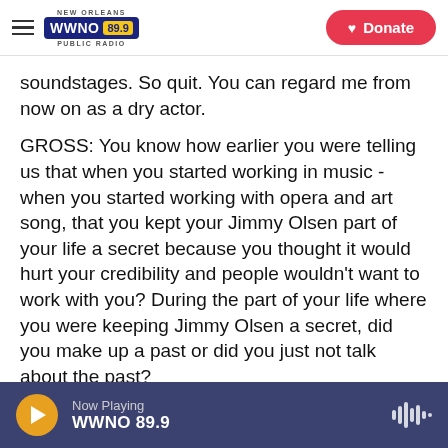NEW ORLEANS WWNO 89.9 PUBLIC RADIO | Donate
soundstages. So quit. You can regard me from now on as a dry actor.
GROSS: You know how earlier you were telling us that when you started working in music - when you started working with opera and art song, that you kept your Jimmy Olsen part of your life a secret because you thought it would hurt your credibility and people wouldn't want to work with you? During the part of your life where you were keeping Jimmy Olsen a secret, did you make up a past or did you just not talk about the past?
Now Playing WWNO 89.9